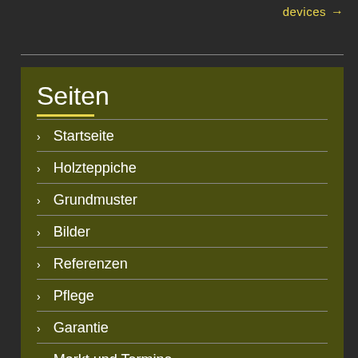devices →
Seiten
Startseite
Holzteppiche
Grundmuster
Bilder
Referenzen
Pflege
Garantie
Markt und Termine